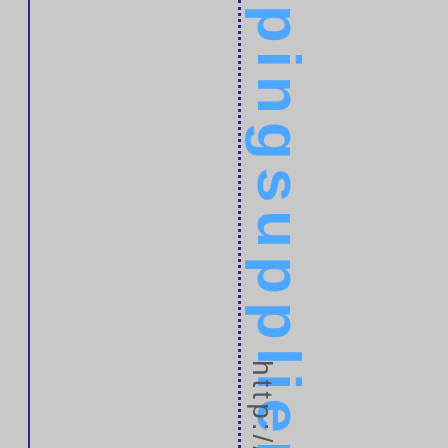[Figure (other): Page with grey background, a vertical solid dark blue/purple line on the left side and a vertical dotted dark blue/purple line in the center-right area. Large bold blue text 'pingsupplier' written vertically along the dotted line. Smaller grey text 'http://' written vertically below.]